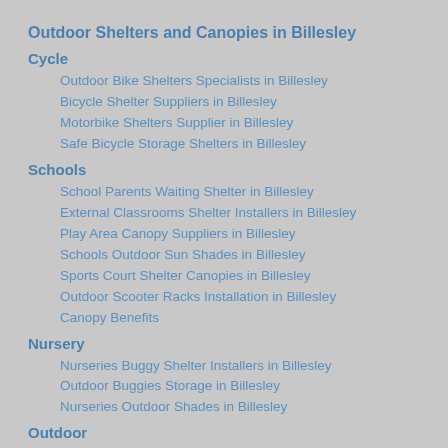Outdoor Shelters and Canopies in Billesley
Cycle
Outdoor Bike Shelters Specialists in Billesley
Bicycle Shelter Suppliers in Billesley
Motorbike Shelters Supplier in Billesley
Safe Bicycle Storage Shelters in Billesley
Schools
School Parents Waiting Shelter in Billesley
External Classrooms Shelter Installers in Billesley
Play Area Canopy Suppliers in Billesley
Schools Outdoor Sun Shades in Billesley
Sports Court Shelter Canopies in Billesley
Outdoor Scooter Racks Installation in Billesley
Canopy Benefits
Nursery
Nurseries Buggy Shelter Installers in Billesley
Outdoor Buggies Storage in Billesley
Nurseries Outdoor Shades in Billesley
Outdoor
External Conference Shelters in Billesley
External Playground Canopies in Billesley
External Teaching Facility Shelters in Billesley